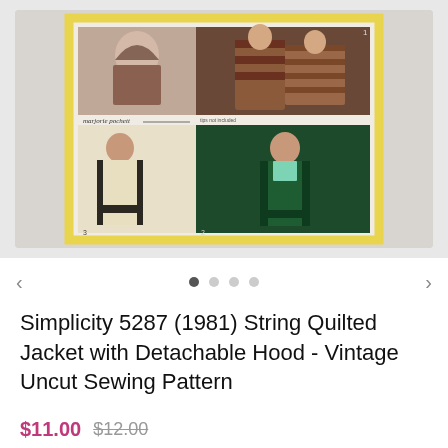[Figure (photo): Product listing photo showing a vintage Simplicity sewing pattern envelope #5287 from 1981. The envelope has a yellow border and shows four views of women wearing string quilted jackets with detachable hoods, in various styles and colors including brown, cream/ivory, and green.]
← • ○ ○ ○ →
Simplicity 5287 (1981) String Quilted Jacket with Detachable Hood - Vintage Uncut Sewing Pattern
$11.00  $12.00